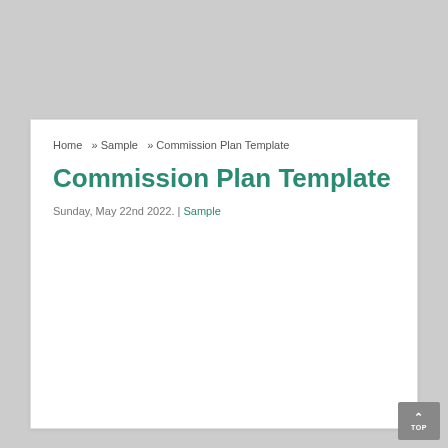Home » Sample » Commission Plan Template
Commission Plan Template
Sunday, May 22nd 2022. | Sample